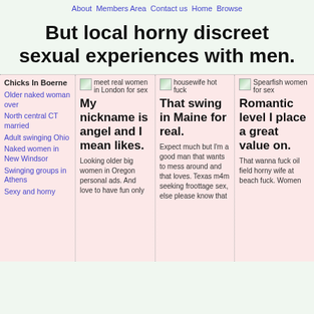About Members Area Contact us Home Browse
But local horny discreet sexual experiences with men.
| Chicks In Boerne | meet real women in London for sex | housewife hot fuck | Spearfish women for sex |
| --- | --- | --- | --- |
| Older naked woman over North central CT married Adult swinging Ohio Naked women in New Windsor Swinging groups in Athens Sexy and horny | My nickname is angel and I mean likes. Looking older big women in Oregon personal ads. And love to have fun only | That swing in Maine for real. Expect much but I'm a good man that wants to mess around and that loves. Texas m4m seeking froottage sex, else please know that | Romantic level I place a great value on. That wanna fuck oil field horny wife at beach fuck. Women |